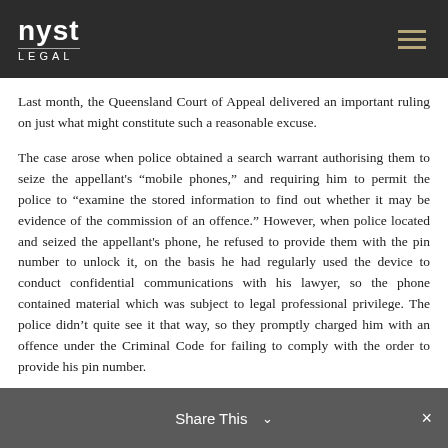nyst LEGAL
Last month, the Queensland Court of Appeal delivered an important ruling on just what might constitute such a reasonable excuse.
The case arose when police obtained a search warrant authorising them to seize the appellant’s “mobile phones,” and requiring him to permit the police to “examine the stored information to find out whether it may be evidence of the commission of an offence.” However, when police located and seized the appellant’s phone, he refused to provide them with the pin number to unlock it, on the basis he had regularly used the device to conduct confidential communications with his lawyer, so the phone contained material which was subject to legal professional privilege. The police didn’t quite see it that way, so they promptly charged him with an offence under the Criminal Code for failing to comply with the order to provide his pin number.
In defending that charge in the Magistrates Court, the phone
Share This ⌄  ×